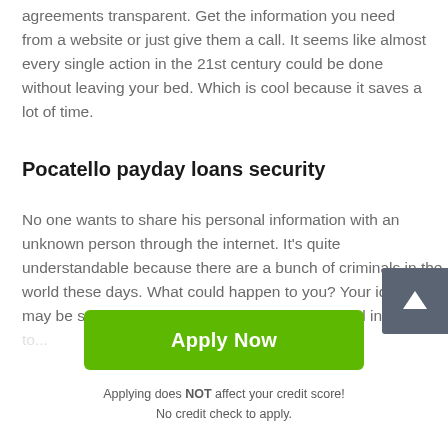agreements transparent. Get the information you need from a website or just give them a call. It seems like almost every single action in the 21st century could be done without leaving your bed. Which is cool because it saves a lot of time.
Pocatello payday loans security
No one wants to share his personal information with an unknown person through the internet. It's quite understandable because there are a bunch of criminals in the world these days. What could happen to you? Your identity may be stolen! Identity thieves steal your personal information...
Apply Now
Applying does NOT affect your credit score!
No credit check to apply.